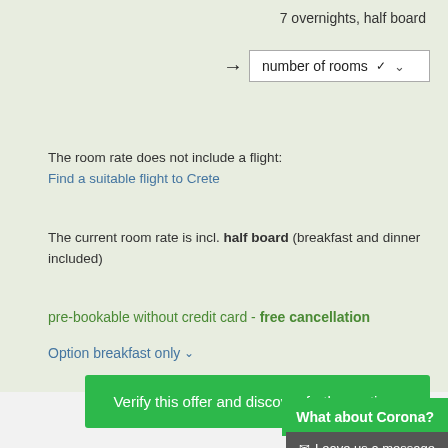7 overnights, half board
→ number of rooms ∨
The room rate does not include a flight:
Find a suitable flight to Crete
The current room rate is incl. half board (breakfast and dinner included)
pre-bookable without credit card - free cancellation
Option breakfast only ∨
Verify this offer and discover further options
What about Corona?
✉ Leave us a message